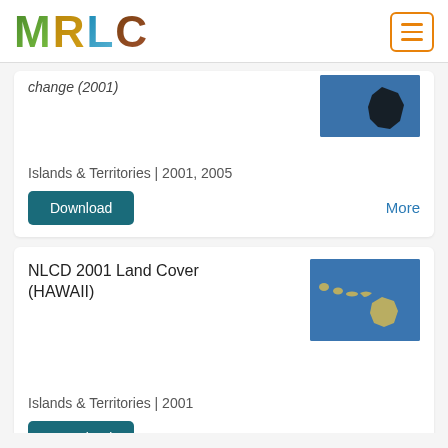[Figure (logo): MRLC logo with nature-textured letters]
[Figure (other): Hamburger menu button with orange border]
change (2001)
[Figure (map): Thumbnail map showing Big Island of Hawaii silhouette on blue background]
Islands & Territories | 2001, 2005
Download
More
NLCD 2001 Land Cover (HAWAII)
[Figure (map): Thumbnail map showing Hawaiian Islands chain on blue background]
Islands & Territories | 2001
Download